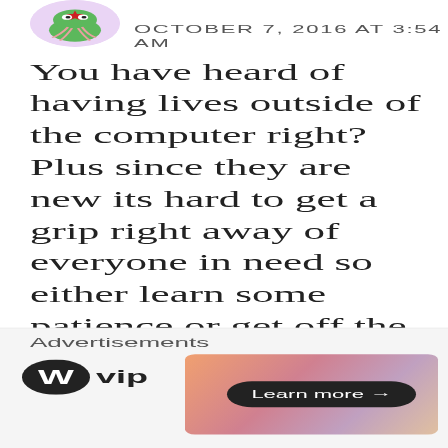[Figure (illustration): Cartoon avatar of a green frog-like creature with red star on head and pink tentacles, on a light purple circular background]
OCTOBER 7, 2016 AT 3:54 AM
You have heard of having lives outside of the computer right? Plus since they are new its hard to get a grip right away of everyone in need so either learn some patience or get off the web because frankly you cant handle the web.
Like
REPLY
Advertisements
[Figure (logo): WordPress VIP logo - circular W mark with 'vip' text]
[Figure (screenshot): Advertisement banner with gradient pink/orange colors and Learn more button]